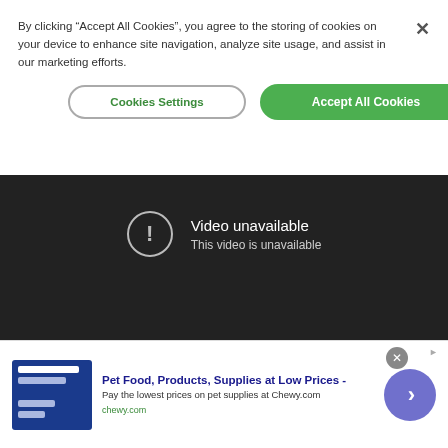By clicking “Accept All Cookies”, you agree to the storing of cookies on your device to enhance site navigation, analyze site usage, and assist in our marketing efforts.
Cookies Settings
Accept All Cookies
[Figure (screenshot): Video unavailable screen with dark background, circle exclamation icon, text 'Video unavailable' and 'This video is unavailable', YouTube play button icon in bottom right.]
[Figure (screenshot): Advertisement banner for Chewy.com: 'Pet Food, Products, Supplies at Low Prices - Pay the lowest prices on pet supplies at Chewy.com' with blue product image thumbnail and purple arrow button.]